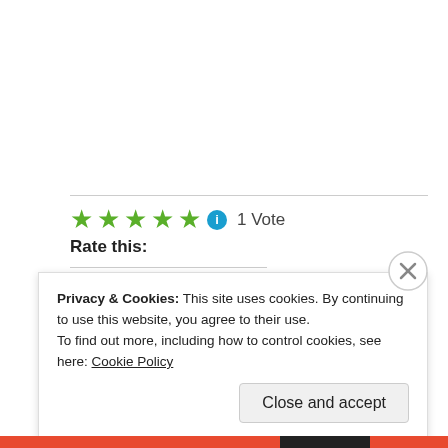Rate this: ★★★★★ ℹ 1 Vote
Share this:
Reddit  More
Loading...
Privacy & Cookies: This site uses cookies. By continuing to use this website, you agree to their use. To find out more, including how to control cookies, see here: Cookie Policy
Close and accept